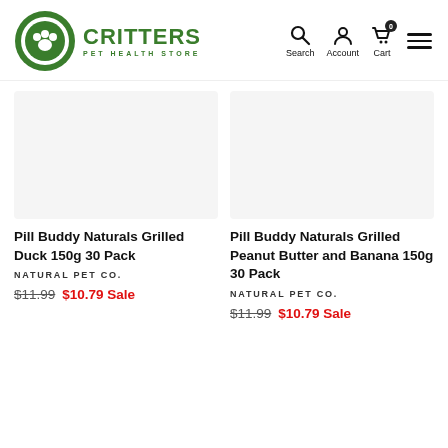Critters Pet Health Store — Search, Account, Cart navigation
[Figure (logo): Critters Pet Health Store logo: green circle with paw print, text CRITTERS PET HEALTH STORE]
Pill Buddy Naturals Grilled Duck 150g 30 Pack
NATURAL PET CO.
$11.99 $10.79 Sale
Pill Buddy Naturals Grilled Peanut Butter and Banana 150g 30 Pack
NATURAL PET CO.
$11.99 $10.79 Sale